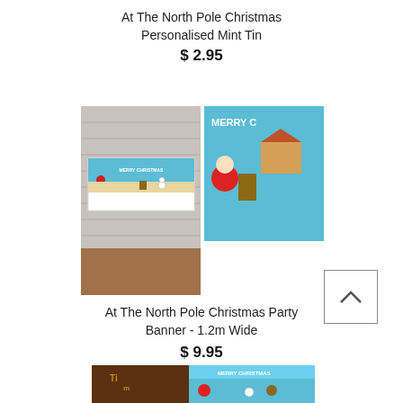At The North Pole Christmas Personalised Mint Tin
$2.95
[Figure (photo): Two product photos side by side: left shows a Christmas party banner mounted on a white brick wall above a wooden surface with Santa and Christmas characters; right shows a close-up of the same banner design showing 'Merry Christmas' text with Santa and gingerbread house]
At The North Pole Christmas Party Banner - 1.2m Wide
$9.95
[Figure (photo): Partially visible product photo at bottom: chocolate Tim Tam biscuit packaging next to a Christmas-themed wrapper featuring Santa and snowman characters with 'Merry Christmas' text]